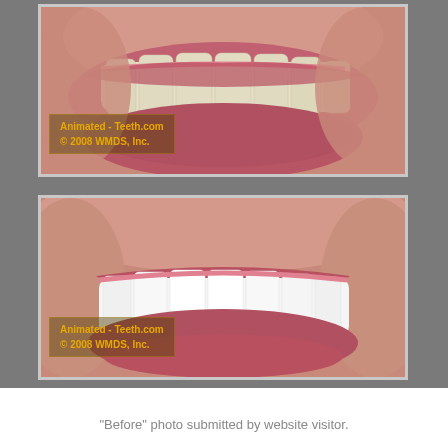[Figure (photo): Before photo: close-up of a person's mouth and smile showing slightly yellowed/off-white teeth and pink lips, with watermark overlay reading 'Animated - Teeth.com © 2008 WMDS, Inc.']
[Figure (photo): After photo: close-up of a person's mouth and smile showing bright white teeth and pink lips, with watermark overlay reading 'Animated - Teeth.com © 2008 WMDS, Inc.']
"Before" photo submitted by website visitor.